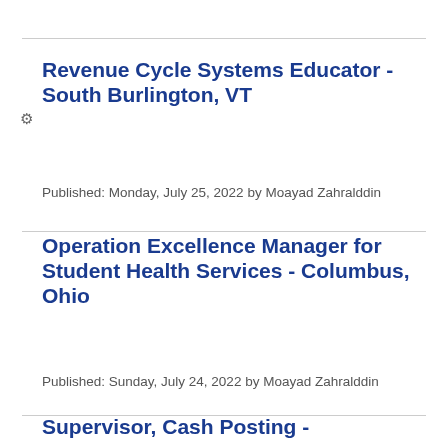Revenue Cycle Systems Educator - South Burlington, VT
Published: Monday, July 25, 2022 by Moayad Zahralddin
Operation Excellence Manager for Student Health Services - Columbus, Ohio
Published: Sunday, July 24, 2022 by Moayad Zahralddin
Supervisor, Cash Posting -